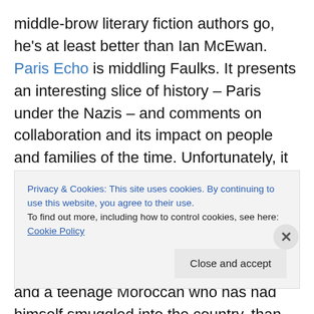middle-brow literary fiction authors go, he's at least better than Ian McEwan. Paris Echo is middling Faulks. It presents an interesting slice of history – Paris under the Nazis – and comments on collaboration and its impact on people and families of the time. Unfortunately, it doesn't offer much in the way of plot as a substrate for this discussion, and in fact seems more concerned with the intersection of the lives of two immigrants in Paris, a female American academic and a teenage Moroccan who has had himself smuggled into the country, than the actual story the characters are intended to be springboards for
Privacy & Cookies: This site uses cookies. By continuing to use this website, you agree to their use.
To find out more, including how to control cookies, see here: Cookie Policy
Close and accept